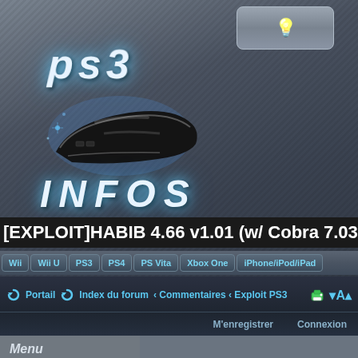[Figure (screenshot): PS3 Infos website logo with PS3 console image and stylized text]
[EXPLOIT]HABIB 4.66 v1.01 (w/ Cobra 7.03
Wii | Wii U | PS3 | PS4 | PS Vita | Xbox One | iPhone/iPod/iPad
Portail | Index du forum | Commentaires | Exploit PS3 | M'enregistrer | Connexion
Menu
Accueil
News
Tutoriaux
Téléchargements
Homebrews
Exploits